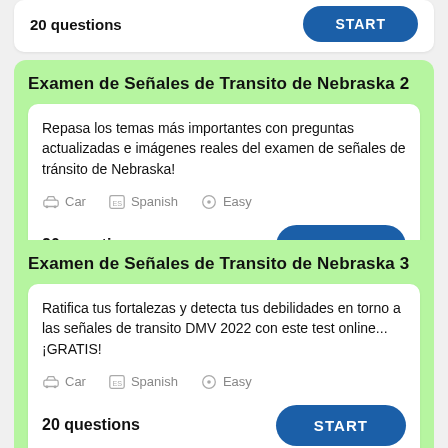20 questions
Examen de Señales de Transito de Nebraska 2
Repasa los temas más importantes con preguntas actualizadas e imágenes reales del examen de señales de tránsito de Nebraska!
Car   Spanish   Easy
20 questions
Examen de Señales de Transito de Nebraska 3
Ratifica tus fortalezas y detecta tus debilidades en torno a las señales de transito DMV 2022 con este test online... ¡GRATIS!
Car   Spanish   Easy
20 questions